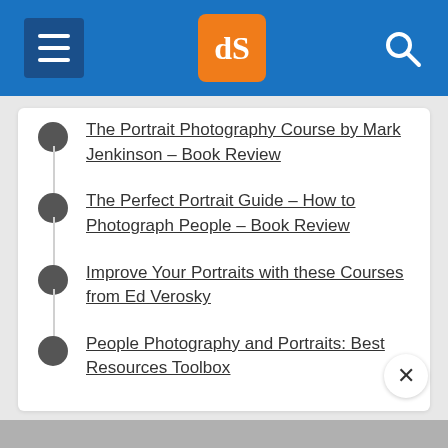dPS navigation header with hamburger menu, dPS logo, and search icon
The Portrait Photography Course by Mark Jenkinson – Book Review
The Perfect Portrait Guide – How to Photograph People – Book Review
Improve Your Portraits with these Courses from Ed Verosky
People Photography and Portraits: Best Resources Toolbox